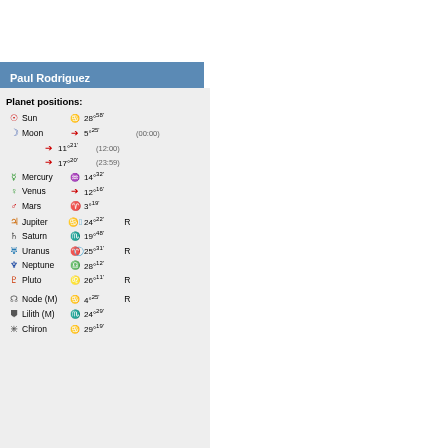Paul Rodriguez
Planet positions:
| Icon | Planet | Sign | Degree | Note |
| --- | --- | --- | --- | --- |
| ☉ | Sun | ♑ | 28°58' |  |
| ☽ | Moon | ♐ | 5°25' | (00:00) |
|  |  | ♐ | 11°21' | (12:00) |
|  |  | ♐ | 17°20' | (23:59) |
| ☿ | Mercury | ♒ | 14°32' |  |
| ♀ | Venus | ♐ | 12°16' |  |
| ♂ | Mars | ♈ | 3°19' |  |
| ♃ | Jupiter | ♋ | 24°22' | R |
| ♄ | Saturn | ♏ | 19°48' |  |
| ♅ | Uranus | ♋ | 25°31' | R |
| ♆ | Neptune | ♎ | 28°12' |  |
| ♇ | Pluto | ♌ | 26°11' | R |
| ☊ | Node (M) | ♑ | 4°25' | R |
| ⚸ | Lilith (M) | ♏ | 24°29' |  |
| ⚷ | Chiron | ♑ | 29°19' |  |